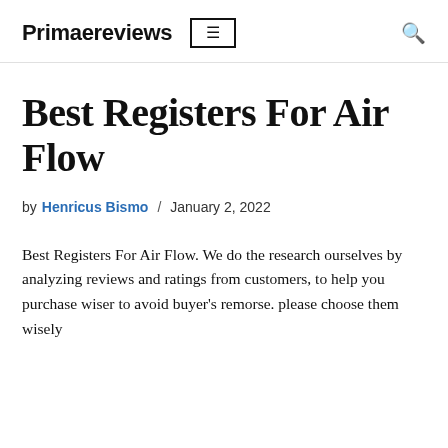Primaereviews
Best Registers For Air Flow
by Henricus Bismo / January 2, 2022
Best Registers For Air Flow. We do the research ourselves by analyzing reviews and ratings from customers, to help you purchase wiser to avoid buyer's remorse. please choose them wisely